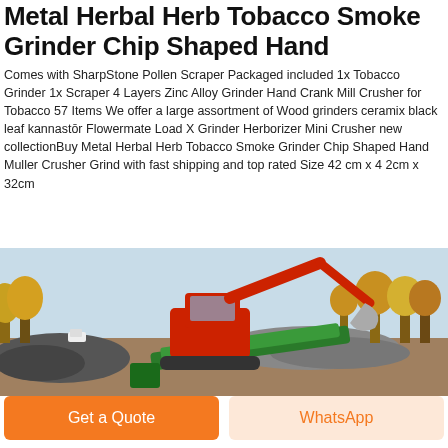Metal Herbal Herb Tobacco Smoke Grinder Chip Shaped Hand
Comes with SharpStone Pollen Scraper Packaged included 1x Tobacco Grinder 1x Scraper 4 Layers Zinc Alloy Grinder Hand Crank Mill Crusher for Tobacco 57 Items We offer a large assortment of Wood grinders ceramix black leaf kannastōr Flowermate Load X Grinder Herborizer Mini Crusher new collectionBuy Metal Herbal Herb Tobacco Smoke Grinder Chip Shaped Hand Muller Crusher Grind with fast shipping and top rated Size 42 cm x 4 2cm x 32cm
[Figure (photo): A red excavator machine operating outdoors at a construction or industrial site with piles of rubble and a green conveyor/crusher machine, trees with autumn foliage in the background.]
Get a Quote
WhatsApp